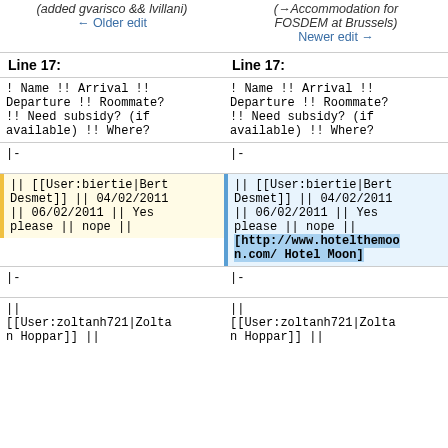(added gvarisco && lvillani)
(→Accommodation for FOSDEM at Brussels)
← Older edit
Newer edit →
Line 17:
Line 17:
! Name !! Arrival !!
Departure !! Roommate?
!! Need subsidy? (if
available) !! Where?
! Name !! Arrival !!
Departure !! Roommate?
!! Need subsidy? (if
available) !! Where?
|-
|-
|| [[User:biertie|Bert
Desmet]] || 04/02/2011
|| 06/02/2011 || Yes
please || nope ||
|| [[User:biertie|Bert
Desmet]] || 04/02/2011
|| 06/02/2011 || Yes
please || nope ||
[http://www.hotelthemoon.com/ Hotel Moon]
|-
|-
|| [[User:zoltanh721|Zolta
n Hoppar]] ||
|| [[User:zoltanh721|Zolta
n Hoppar]] ||